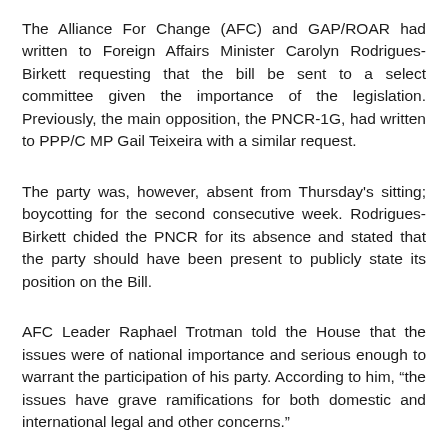The Alliance For Change (AFC) and GAP/ROAR had written to Foreign Affairs Minister Carolyn Rodrigues-Birkett requesting that the bill be sent to a select committee given the importance of the legislation. Previously, the main opposition, the PNCR-1G, had written to PPP/C MP Gail Teixeira with a similar request.
The party was, however, absent from Thursday's sitting; boycotting for the second consecutive week. Rodrigues-Birkett chided the PNCR for its absence and stated that the party should have been present to publicly state its position on the Bill.
AFC Leader Raphael Trotman told the House that the issues were of national importance and serious enough to warrant the participation of his party. According to him, “the issues have grave ramifications for both domestic and international legal and other concerns.”